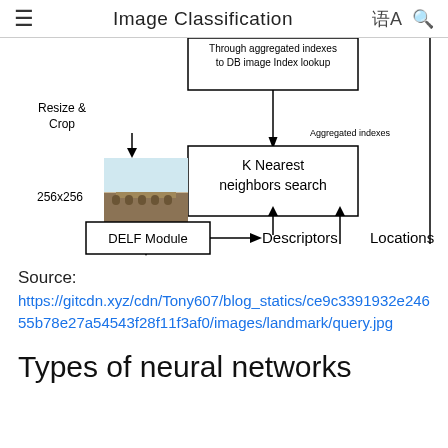Image Classification
[Figure (flowchart): Partial flowchart showing image classification pipeline: Resize & Crop → 256x256 image → DELF Module → Descriptors → K Nearest neighbors search → (aggregated indexes) → Through aggregated indexes to DB image index lookup. Also shows Locations feeding into the top box.]
Source:
https://gitcdn.xyz/cdn/Tony607/blog_statics/ce9c3391932e24655b78e27a54543f28f11f3af0/images/landmark/query.jpg
Types of neural networks